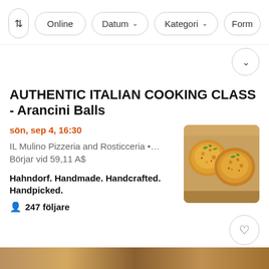Filter | Online | Datum ▾ | Kategori ▾ | Form
...
AUTHENTIC ITALIAN COOKING CLASS - Arancini Balls
sön, sep 4, 16:30
IL Mulino Pizzeria and Rosticceria •…
Börjar vid 59,11 A$
Hahndorf. Handmade. Handcrafted. Handpicked.
247 följare
[Figure (photo): Photo of arancini balls — golden fried rice balls with herbs on top]